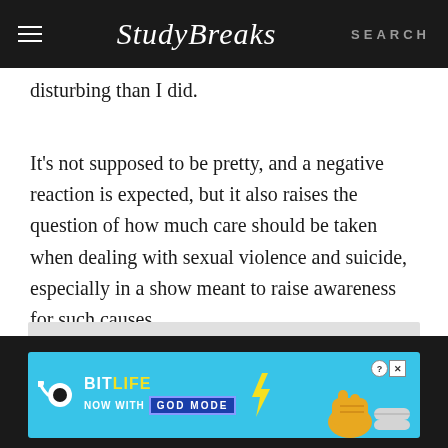Study Breaks — SEARCH
disturbing than I did.
It's not supposed to be pretty, and a negative reaction is expected, but it also raises the question of how much care should be taken when dealing with sexual violence and suicide, especially in a show meant to raise awareness for such causes.
[Figure (other): Advertisement placeholder (gray box)]
[Figure (other): BitLife — Now with GOD MODE advertisement banner on dark footer bar]